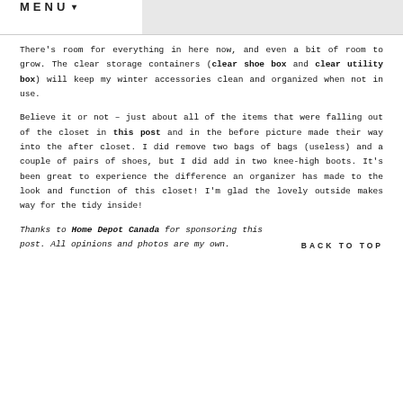MENU ▾
There's room for everything in here now, and even a bit of room to grow. The clear storage containers (clear shoe box and clear utility box) will keep my winter accessories clean and organized when not in use.
Believe it or not – just about all of the items that were falling out of the closet in this post and in the before picture made their way into the after closet. I did remove two bags of bags (useless) and a couple of pairs of shoes, but I did add in two knee-high boots. It's been great to experience the difference an organizer has made to the look and function of this closet! I'm glad the lovely outside makes way for the tidy inside!
Thanks to Home Depot Canada for sponsoring this post. All opinions and photos are my own.
BACK TO TOP